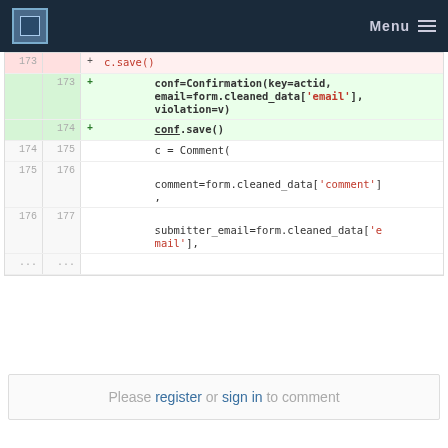Menu
[Figure (screenshot): Code diff view showing Python code changes. Lines 173-177 and ellipsis shown. Added lines include: conf=Confirmation(key=actid, email=form.cleaned_data['email'], violation=v), conf.save(). Normal lines show c = Comment(, comment=form.cleaned_data['comment'],, submitter_email=form.cleaned_data['email'],]
Please register or sign in to comment